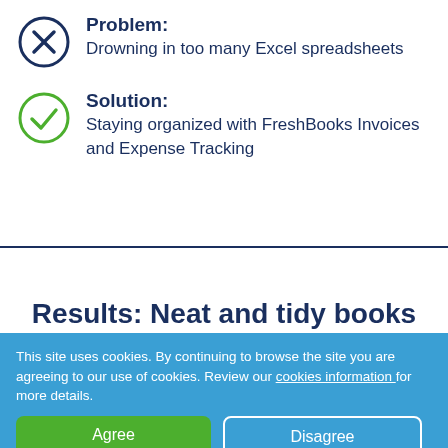Problem: Drowning in too many Excel spreadsheets
Solution: Staying organized with FreshBooks Invoices and Expense Tracking
Results: Neat and tidy books come tax time
This site uses cookies. By continuing to browse the site you are agreeing to our use of cookies. Review our cookies information for more details.